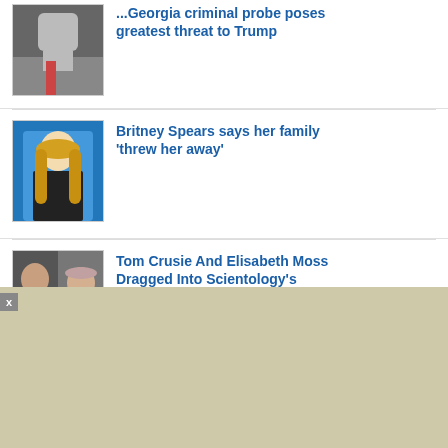...Georgia criminal probe poses greatest threat to Trump
[Figure (photo): Photo of Donald Trump shielding eyes with hand, wearing suit and red tie]
Britney Spears says her family 'threw her away'
[Figure (photo): Photo of Britney Spears with long blonde hair against blue background]
Tom Crusie And Elisabeth Moss Dragged Into Scientology's Battle With Leah Remini's Assistant
[Figure (photo): Side-by-side photo of Tom Cruise and Elisabeth Moss]
Demi Lovato regrets her three
[Figure (photo): Partial photo of Demi Lovato against blue background]